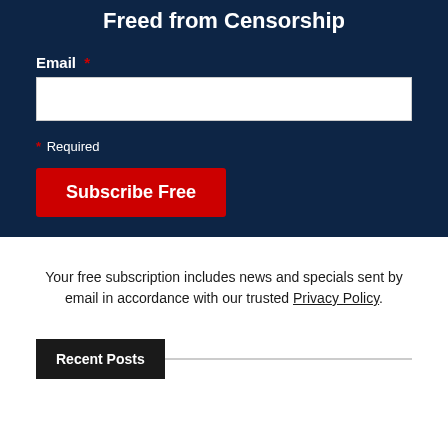Freed from Censorship
Email *
* Required
Subscribe Free
Your free subscription includes news and specials sent by email in accordance with our trusted Privacy Policy.
Recent Posts